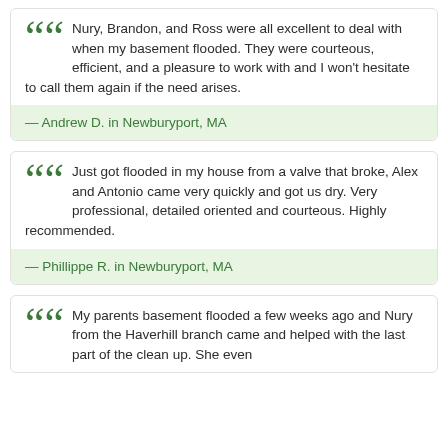Nury, Brandon, and Ross were all excellent to deal with when my basement flooded. They were courteous, efficient, and a pleasure to work with and I won't hesitate to call them again if the need arises.
— Andrew D. in Newburyport, MA
Just got flooded in my house from a valve that broke, Alex and Antonio came very quickly and got us dry. Very professional, detailed oriented and courteous. Highly recommended.
— Phillippe R. in Newburyport, MA
My parents basement flooded a few weeks ago and Nury from the Haverhill branch came and helped with the last part of the clean up. She even